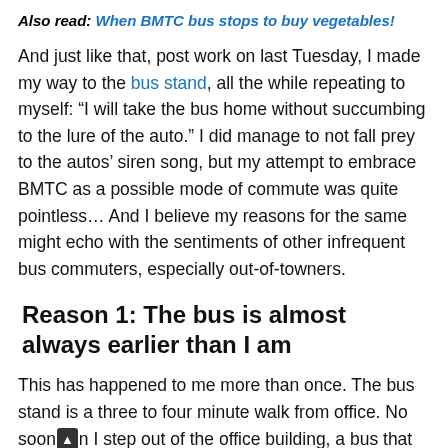Also read: When BMTC bus stops to buy vegetables!
And just like that, post work on last Tuesday, I made my way to the bus stand, all the while repeating to myself: “I will take the bus home without succumbing to the lure of the auto.” I did manage to not fall prey to the autos’ siren song, but my attempt to embrace BMTC as a possible mode of commute was quite pointless… And I believe my reasons for the same might echo with the sentiments of other infrequent bus commuters, especially out-of-towners.
Reason 1: The bus is almost always earlier than I am
This has happened to me more than once. The bus stand is a three to four minute walk from office. No sooner than I step out of the office building, a bus that could ferry me